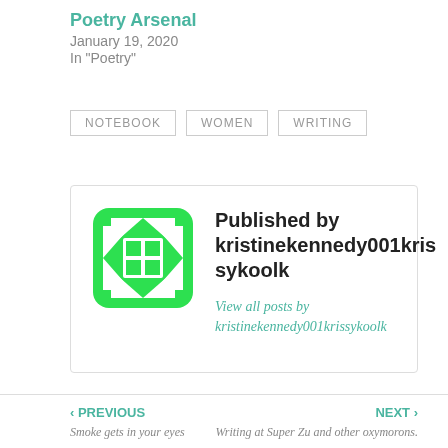Poetry Arsenal
January 19, 2020
In "Poetry"
NOTEBOOK
WOMEN
WRITING
[Figure (illustration): Green rounded-square avatar icon with a quilt/checkerboard pattern in white on green background]
Published by kristinekennedy001krissykoolk
View all posts by kristinekennedy001krissykoolk
‹ PREVIOUS
Smoke gets in your eyes
NEXT ›
Writing at Super Zu and other oxymorons.